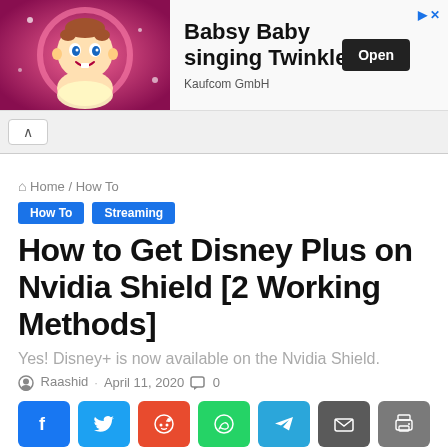[Figure (screenshot): Advertisement banner for 'Babsy Baby singing Twinkle' by Kaufcom GmbH with animated baby character on pink background, Open button, and close/arrow icons]
Home / How To
How To   Streaming
How to Get Disney Plus on Nvidia Shield [2 Working Methods]
Yes! Disney+ is now available on the Nvidia Shield.
Raashid · April 11, 2020 · 0
[Figure (infographic): Social share buttons row: Facebook, Twitter, Reddit, WhatsApp, Telegram, Email, Print]